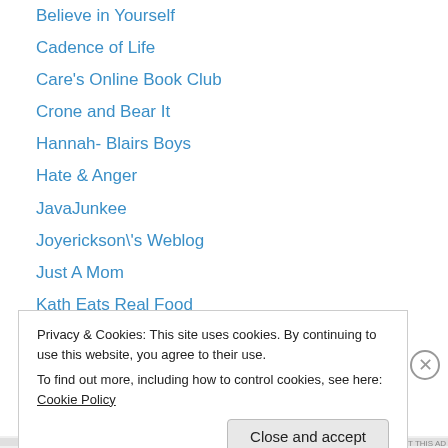Believe in Yourself
Cadence of Life
Care's Online Book Club
Crone and Bear It
Hannah- Blairs Boys
Hate & Anger
JavaJunkee
Joyerickson\'s Weblog
Just A Mom
Kath Eats Real Food
Kilax
Laugh with Doraz
Laura at Sew at Sea
Privacy & Cookies: This site uses cookies. By continuing to use this website, you agree to their use.
To find out more, including how to control cookies, see here: Cookie Policy
Close and accept